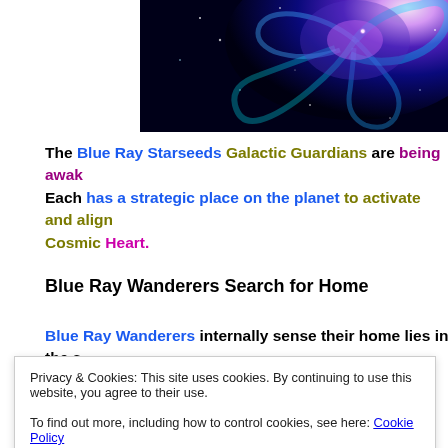[Figure (photo): A spiral galaxy with blue and purple glowing light and stars against a dark space background]
The Blue Ray Starseeds Galactic Guardians are being awak... Each has a strategic place on the planet to activate and align... Cosmic Heart.
Blue Ray Wanderers Search for Home
Blue Ray Wanderers internally sense their home lies in the s...
Privacy & Cookies: This site uses cookies. By continuing to use this website, you agree to their use.
To find out more, including how to control cookies, see here: Cookie Policy
Close and accept